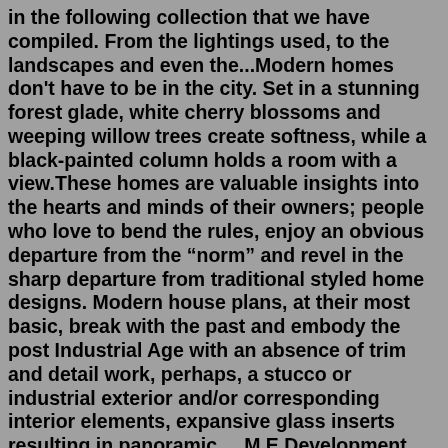in the following collection that we have compiled. From the lightings used, to the landscapes and even the...Modern homes don't have to be in the city. Set in a stunning forest glade, white cherry blossoms and weeping willow trees create softness, while a black-painted column holds a room with a view.These homes are valuable insights into the hearts and minds of their owners; people who love to bend the rules, enjoy an obvious departure from the “norm” and revel in the sharp departure from traditional styled home designs. Modern house plans, at their most basic, break with the past and embody the post Industrial Age with an absence of trim and detail work, perhaps, a stucco or industrial exterior and/or corresponding interior elements, expansive glass inserts resulting in panoramic ... M.E Development, Inc. builds homes designed by world class architects and interior designers. Their debut collection of Modern Venice Homes includes three new custom residences designed by Joan Behnke & Associates and Abramson Architects, which alongside contemporary...